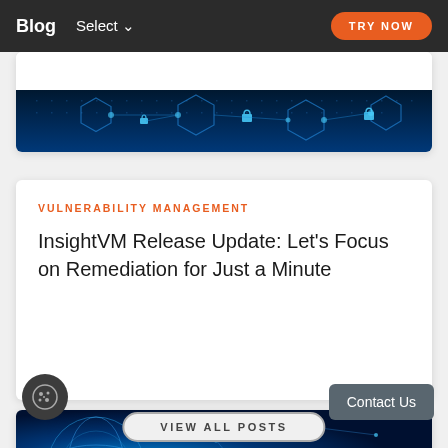Blog  Select  TRY NOW
[Figure (illustration): Dark blue cyber security banner with hexagon network pattern and glowing lock icons]
VULNERABILITY MANAGEMENT
InsightVM Release Update: Let's Focus on Remediation for Just a Minute
[Figure (illustration): Dark blue digital globe/network visualization banner]
VIEW ALL POSTS
Contact Us